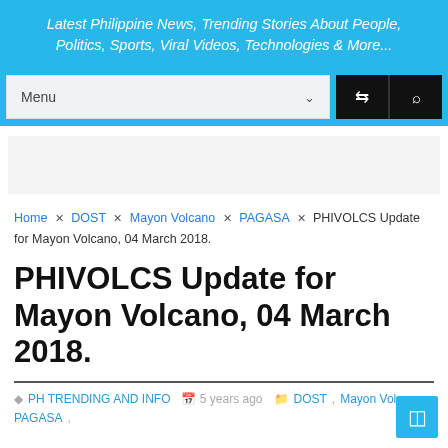Latest Philippine News, Trending Stories About People, Politics, Sports, Viral Videos, Technologies & More...
[Figure (screenshot): Navigation bar with Menu dropdown and shuffle/search icon buttons]
[Figure (other): Advertisement placeholder area (gray box)]
Home × DOST × Mayon Volcano × PAGASA × PHIVOLCS Update for Mayon Volcano, 04 March 2018.
PHIVOLCS Update for Mayon Volcano, 04 March 2018.
PH TRENDING AND INFO   5 years ago   DOST, Mayon Volcano, PAGASA,